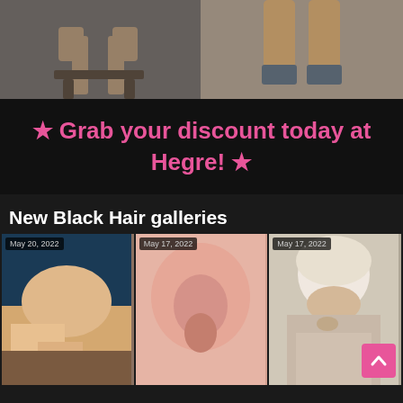[Figure (photo): Two side-by-side cropped photos at top: left shows person seated on stool, right shows person's legs with socks]
★ Grab your discount today at Hegre! ★
New Black Hair galleries
[Figure (photo): Gallery thumbnail dated May 20, 2022]
[Figure (photo): Gallery thumbnail dated May 17, 2022]
[Figure (photo): Gallery thumbnail dated May 17, 2022 - woman with towel on head]